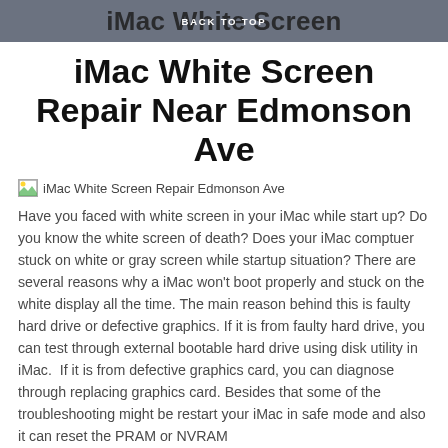iMac White Screen | BACK TO TOP | Repair Near Edmonson Ave
iMac White Screen Repair Near Edmonson Ave
[Figure (photo): Broken image placeholder with alt text: iMac White Screen Repair Edmonson Ave]
Have you faced with white screen in your iMac while start up? Do you know the white screen of death? Does your iMac comptuer stuck on white or gray screen while startup situation? There are several reasons why a iMac won't boot properly and stuck on the white display all the time. The main reason behind this is faulty hard drive or defective graphics. If it is from faulty hard drive, you can test through external bootable hard drive using disk utility in iMac.  If it is from defective graphics card, you can diagnose through replacing graphics card. Besides that some of the troubleshooting might be restart your iMac in safe mode and also it can reset the PRAM or NVRAM